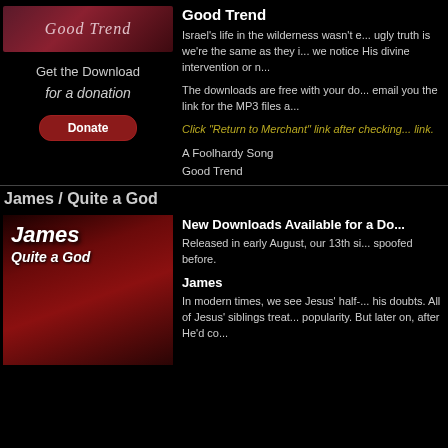[Figure (illustration): Album cover for Good Trend with cursive text on dark red background]
Good Trend
Get the Download
for a donation
Donate
Israel's life in the wilderness wasn't e... ugly truth is we're the same as they i... we notice His divine intervention or n...
The downloads are free with your do... email you the link for the MP3 files a...
Click "Return to Merchant" link after checking... link.
A Foolhardy Song
Good Trend
James / Quite a God
[Figure (photo): Album cover for James / Quite a God showing a man in a hat with instruments on red background]
New Downloads Available for a Do...
Released in early August, our 13th si... spoofed before.
James
In modern times, we see Jesus' half-... his doubts. All of Jesus' siblings treat... popularity. But later on, after He'd co...